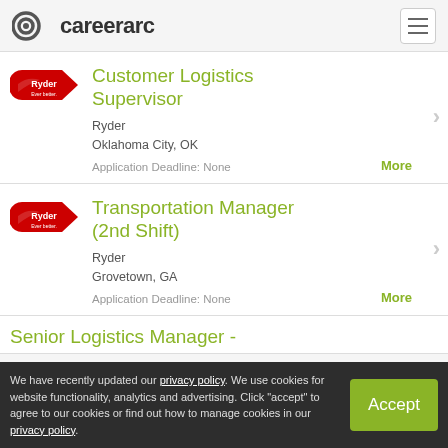careerarc
Customer Logistics Supervisor
Ryder
Oklahoma City, OK
Application Deadline: None
Transportation Manager (2nd Shift)
Ryder
Grovetown, GA
Application Deadline: None
Senior Logistics Manager -
We have recently updated our privacy policy. We use cookies for website functionality, analytics and advertising. Click "accept" to agree to our cookies or find out how to manage cookies in our privacy policy.